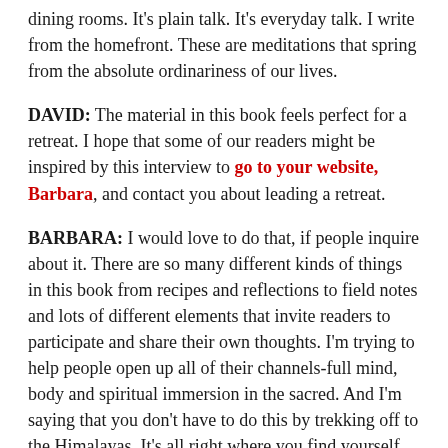dining rooms. It's plain talk. It's everyday talk. I write from the homefront. These are meditations that spring from the absolute ordinariness of our lives.
DAVID: The material in this book feels perfect for a retreat. I hope that some of our readers might be inspired by this interview to go to your website, Barbara, and contact you about leading a retreat.
BARBARA: I would love to do that, if people inquire about it. There are so many different kinds of things in this book from recipes and reflections to field notes and lots of different elements that invite readers to participate and share their own thoughts. I'm trying to help people open up all of their channels-full mind, body and spiritual immersion in the sacred. And I'm saying that you don't have to do this by trekking off to the Himalayas. It's all right where you find yourself.
[partially visible text at bottom]